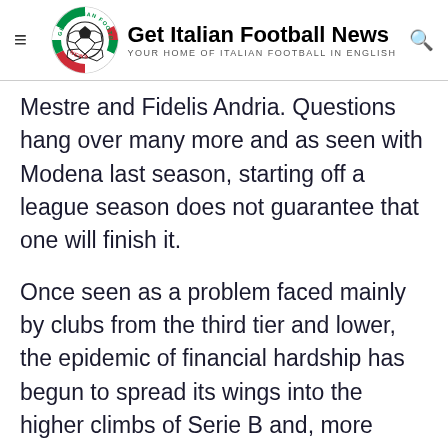Get Italian Football News — YOUR HOME OF ITALIAN FOOTBALL IN ENGLISH
Mestre and Fidelis Andria. Questions hang over many more and as seen with Modena last season, starting off a league season does not guarantee that one will finish it.
Once seen as a problem faced mainly by clubs from the third tier and lower, the epidemic of financial hardship has begun to spread its wings into the higher climbs of Serie B and, more recently, begin to touch the perimeters of Serie A in Parma's case. There is, however, no quick fix to the problem as evidenced by how long it has plagued the game, but the question